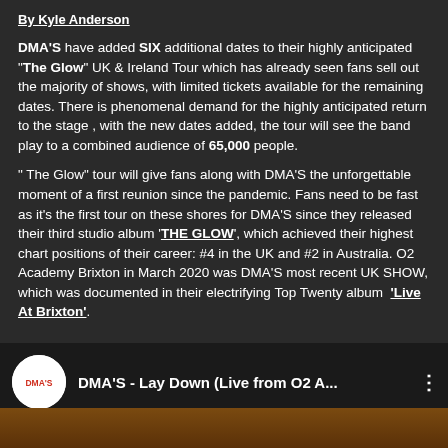By Kyle Anderson
DMA'S have added SIX additional dates to their highly anticipated "The Glow" UK & Ireland Tour which has already seen fans sell out the majority of shows, with limited tickets available for the remaining dates. There is phenomenal demand for the highly anticipated return to the stage , with the new dates added, the tour will see the band play to a combined audience of 65,000 people.
" The Glow" tour will give fans along with DMA'S the unforgettable moment of a first reunion since the pandemic. Fans need to be fast as it's the first tour on these shores for DMA'S since they released their third studio album 'THE GLOW', which achieved their highest chart positions of their career: #4 in the UK and #2 in Australia. O2 Academy Brixton in March 2020 was DMA'S most recent UK SHOW, which was documented in their electrifying Top Twenty album  'Live At Brixton'.
[Figure (screenshot): YouTube video thumbnail showing DMA'S logo (white circle with red DMA'S text) and title 'DMA'S - Lay Down (Live from O2 A...' with three-dot menu icon, over a dark background with brown/amber gradient at bottom]